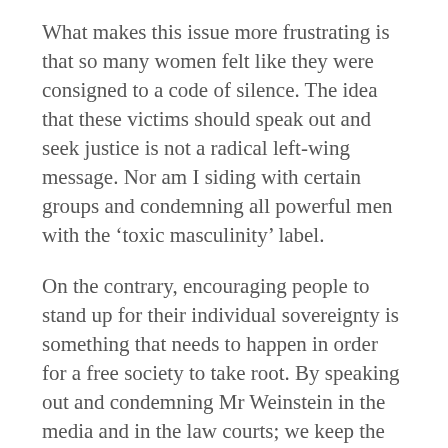What makes this issue more frustrating is that so many women felt like they were consigned to a code of silence. The idea that these victims should speak out and seek justice is not a radical left-wing message. Nor am I siding with certain groups and condemning all powerful men with the ‘toxic masculinity’ label.
On the contrary, encouraging people to stand up for their individual sovereignty is something that needs to happen in order for a free society to take root. By speaking out and condemning Mr Weinstein in the media and in the law courts; we keep the legislators out of our boardrooms, offices and film studios.
For the sake of freedom, I sincerely hope that more of these stories come to light in the near future. Culture is powerful, much more so than government